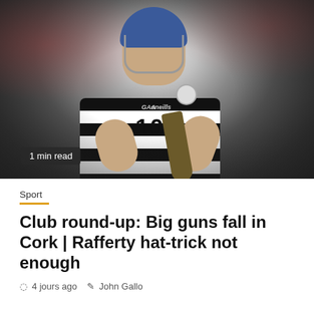[Figure (photo): A hurling player wearing a black-and-white hooped jersey with number 10, blue helmet with face guard, holding a hurley stick with a sliotar (ball) in motion nearby. Blurred crowd background.]
1 min read
Sport
Club round-up: Big guns fall in Cork | Rafferty hat-trick not enough
4 jours ago   John Gallo